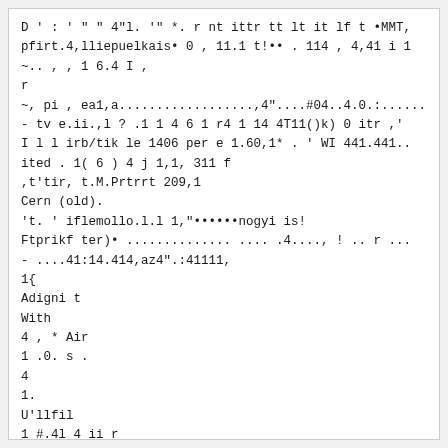D ' : ' " " 4"l. '" *. r nt ittr tt lt it lf t •MMT,
pfirt.4,lliepuelkais• 0 , 11.1 t!•• . 114 , 4,41 i 1
~.. , , 1 6.4 I ,
r
~, pi , ea1,a..................,4"....#04..4.0.:......
- tv e.ii.,l ? .1 1 4 6 1 r4 1 14 4T11()k) 0 itr ,'
I l l irb/tik le 1406 per e 1.60,1* . ' WI 441.441..
ited . 1( 6 ) 4 j 1,1, 311 f
,t'tir, t.M.Prtrrt 209,1
Cern (old).
't. ' iflemollo.l.l 1,"••••••nogyi is!
Ftprikf ter)• .............. .... .4...., ! .. r ...
- ....41:14.414,az4".:41111,
1{
Adigni t
With
4 , * Air
1 .0. s .
4
1.
U'llfil
1 #.4l 4 ii r
••• •
-•• ,- • It,pw, IrwirkiitoniotKarket. , .